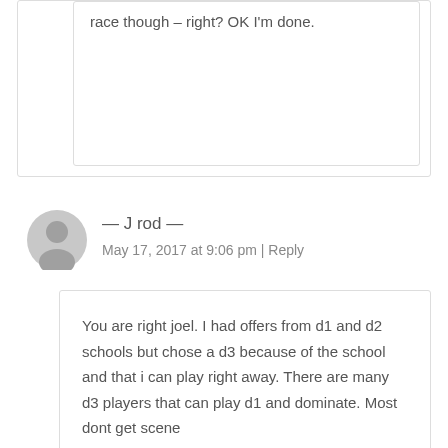race though – right? OK I'm done.
— J rod —
May 17, 2017 at 9:06 pm | Reply
You are right joel. I had offers from d1 and d2 schools but chose a d3 because of the school and that i can play right away. There are many d3 players that can play d1 and dominate. Most dont get scene because of the red dots...